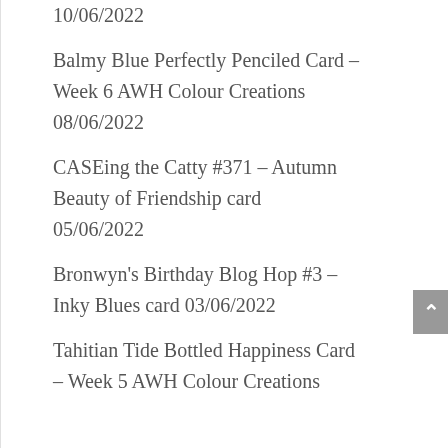10/06/2022
Balmy Blue Perfectly Penciled Card – Week 6 AWH Colour Creations
08/06/2022
CASEing the Catty #371 – Autumn Beauty of Friendship card
05/06/2022
Bronwyn's Birthday Blog Hop #3 – Inky Blues card
03/06/2022
Tahitian Tide Bottled Happiness Card – Week 5 AWH Colour Creations
01/06/2022